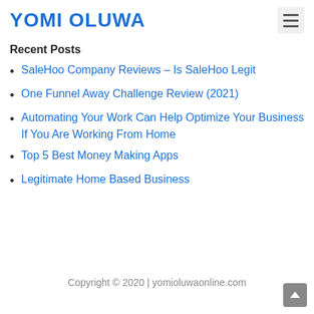YOMI OLUWA
Recent Posts
SaleHoo Company Reviews – Is SaleHoo Legit
One Funnel Away Challenge Review (2021)
Automating Your Work Can Help Optimize Your Business If You Are Working From Home
Top 5 Best Money Making Apps
Legitimate Home Based Business
Copyright © 2020 | yomioluwaonline.com